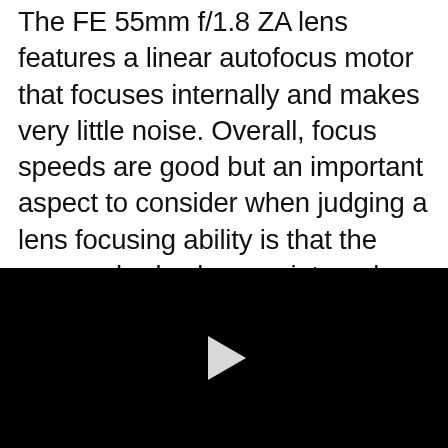The FE 55mm f/1.8 ZA lens features a linear autofocus motor that focuses internally and makes very little noise. Overall, focus speeds are good but an important aspect to consider when judging a lens focusing ability is that the camera body plays an integral role in the quality of the autofocus and because of this, it is essential to match your lenses with high-quality bodies that can deliver good focusing performance. I was able to test the FE 55mm f/1.8 ZA lens alongside the very good Sony Alpha A7III body whose focusing capabilities make the
[Figure (other): Video player with black background and white play button triangle in the center]